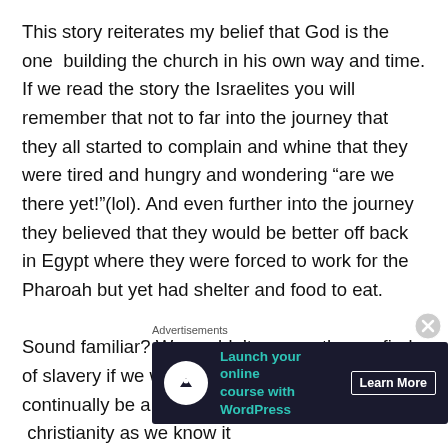This story reiterates my belief that God is the one building the church in his own way and time. If we read the story the Israelites you will remember that not to far into the journey that they all started to complain and whine that they were tired and hungry and wondering “are we there yet!”(lol). And even further into the journey they believed that they would be better off back in Egypt where they were forced to work for the Pharoah but yet had shelter and food to eat.

Sound familiar? We couldn’t escape the confinds of slavery if we wanted to! We are content to continually be a slave! I am under the belief that  christianity as we know it
Advertisements
[Figure (other): Advertisement banner for 'Launch your online course with WordPress' with a Learn More button on a dark navy background]